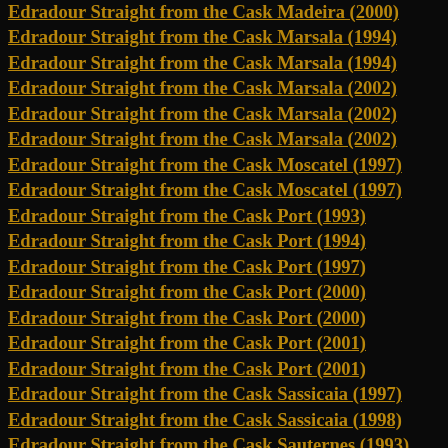Edradour Straight from the Cask Madeira (2000)
Edradour Straight from the Cask Marsala (1994)
Edradour Straight from the Cask Marsala (1994)
Edradour Straight from the Cask Marsala (2002)
Edradour Straight from the Cask Marsala (2002)
Edradour Straight from the Cask Marsala (2002)
Edradour Straight from the Cask Moscatel (1997)
Edradour Straight from the Cask Moscatel (1997)
Edradour Straight from the Cask Port (1993)
Edradour Straight from the Cask Port (1994)
Edradour Straight from the Cask Port (1997)
Edradour Straight from the Cask Port (2000)
Edradour Straight from the Cask Port (2000)
Edradour Straight from the Cask Port (2001)
Edradour Straight from the Cask Port (2001)
Edradour Straight from the Cask Sassicaia (1997)
Edradour Straight from the Cask Sassicaia (1998)
Edradour Straight from the Cask Sauternes (1993)
Edradour Straight from the Cask Sauternes (1993)
Edradour Straight from the Cask Sauternes (1993)